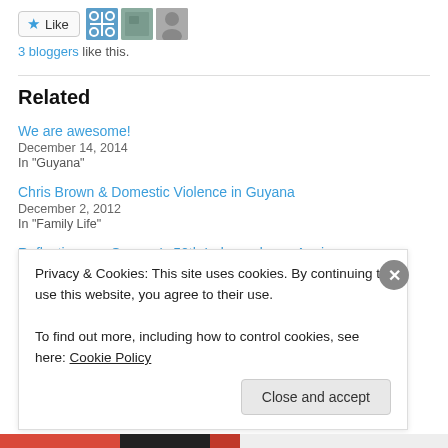[Figure (screenshot): Like button with star icon and avatar group showing 3 bloggers]
3 bloggers like this.
Related
We are awesome!
December 14, 2014
In "Guyana"
Chris Brown & Domestic Violence in Guyana
December 2, 2012
In "Family Life"
Reflections on Guyana's 50th Independence Anniversary
Privacy & Cookies: This site uses cookies. By continuing to use this website, you agree to their use.
To find out more, including how to control cookies, see here: Cookie Policy
Close and accept